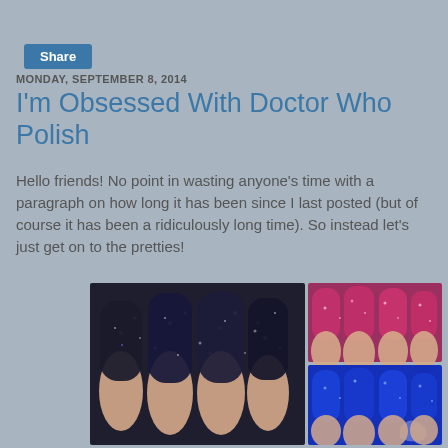Share
MONDAY, SEPTEMBER 8, 2014
I'm Obsessed With Doctor Who Polish
Hello friends! No point in wasting anyone's time with a paragraph on how long it has been since I last posted (but of course it has been a ridiculously long time). So instead let's just get on to the pretties!
[Figure (photo): Three nail polish photos: large dark navy/black glitter holographic nails on the left, small pink/magenta glitter nails top right, small bright blue nails bottom right]